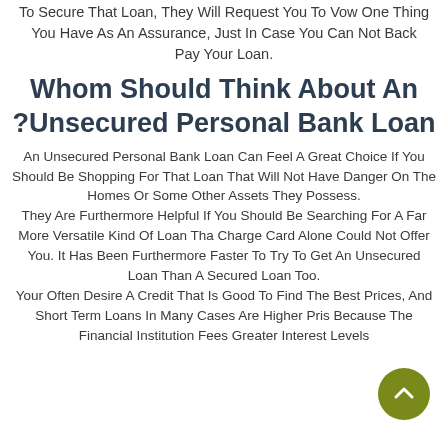To secure that loan, they will request you to vow one thing you have as an assurance, just in case you can not back pay your loan.
Whom Should Think About An Unsecured Personal Bank Loan?
An Unsecured Personal Bank Loan Can Feel A Great Choice If You Should Be Shopping For That Loan That Will Not Have Danger On The Homes Or Some Other Assets They Possess. They Are Furthermore Helpful If You Should Be Searching For A Far More Versatile Kind Of Loan Tha Charge Card Alone Could Not Offer You. It Has Been Furthermore Faster To Try To Get An Unsecured Loan Than A Secured Loan Too. Your Often Desire A Credit That Is Good To Find The Best Prices, And Short Term Loans In Many Cases Are Higher Prices Because The Financial Institution Fees Greater Interest Levels